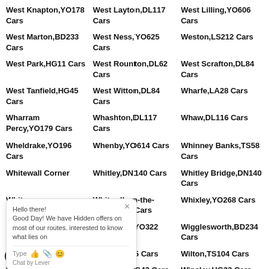West Knapton,YO178 Cars
West Layton,DL117 Cars
West Lilling,YO606 Cars
West Marton,BD233 Cars
West Ness,YO625 Cars
Weston,LS212 Cars
West Park,HG11 Cars
West Rounton,DL62 Cars
West Scrafton,DL84 Cars
West Tanfield,HG45 Cars
West Witton,DL84 Cars
Wharfe,LA28 Cars
Wharram Percy,YO179 Cars
Whashton,DL117 Cars
Whaw,DL116 Cars
Wheldrake,YO196 Cars
Whenby,YO614 Cars
Whinney Banks,TS58 Cars
Whitewall Corner
Whitley,DN140 Cars
Whitley Bridge,DN140 Cars
Whitw
Whitwell-on-the-Hill,YO607 Cars
Whixley,YO268 Cars
Wigan Cars
Wigginton,YO322 Cars
Wigglesworth,BD234 Cars
Willer
Wilsill,HG35 Cars
Wilton,TS104 Cars
Wilton Village,TS104
Winksley,HG43 Cars
Winsley,HG33 Cars